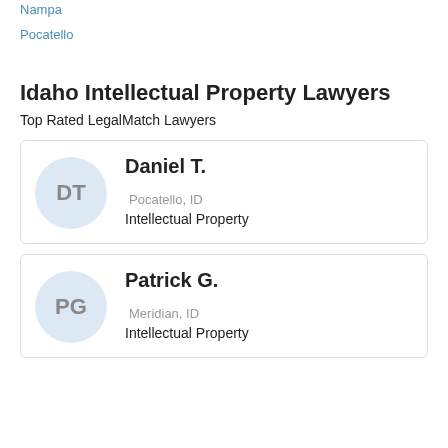Nampa
Pocatello
Idaho Intellectual Property Lawyers
Top Rated LegalMatch Lawyers
DT
Daniel T.
Pocatello, ID
Intellectual Property
PG
Patrick G.
Meridian, ID
Intellectual Property